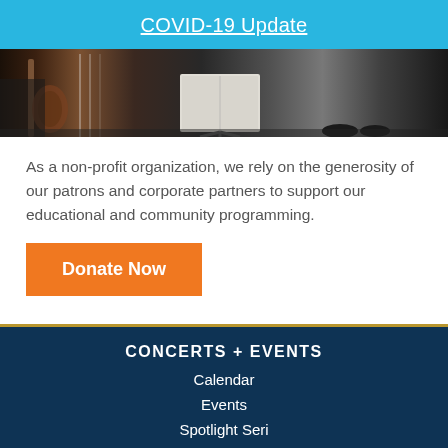COVID-19 Update
[Figure (photo): A cropped photo showing musicians or performers, partially visible, with instruments and a music stand on a dark stage floor.]
As a non-profit organization, we rely on the generosity of our patrons and corporate partners to support our educational and community programming.
Donate Now
CONCERTS + EVENTS
Calendar
Events
Spotlight Seri…